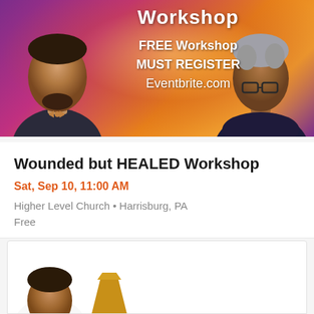[Figure (photo): Event banner with purple-to-orange gradient background, two people (man on left in suit with bow tie, woman on right with glasses and grey hair), text overlay reading 'Workshop FREE Workshop MUST REGISTER Eventbrite.com']
Wounded but HEALED Workshop
Sat, Sep 10, 11:00 AM
Higher Level Church • Harrisburg, PA
Free
[Figure (photo): Partial bottom card showing a person and a gold/yellow trapezoid or funnel shape, partially cut off at bottom of page]